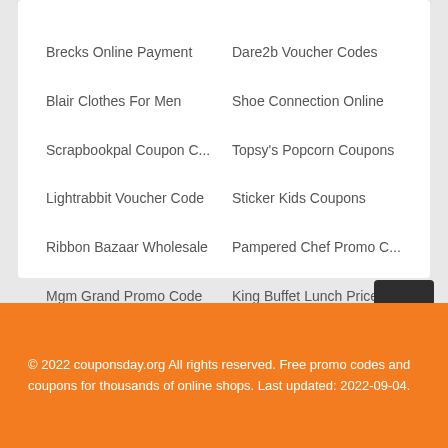Brecks Online Payment
Dare2b Voucher Codes
Blair Clothes For Men
Shoe Connection Online
Scrapbookpal Coupon C...
Topsy's Popcorn Coupons
Lightrabbit Voucher Code
Sticker Kids Coupons
Ribbon Bazaar Wholesale
Pampered Chef Promo C...
Mgm Grand Promo Code
King Buffet Lunch Prices
© 2022 couponsday.org All rights reserved. Free promo codes and coupons for thousands of online shops. Last updated: 2022-09-04.